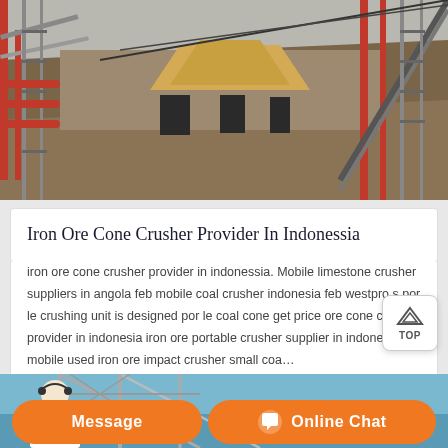[Figure (photo): Industrial mining/crushing plant site showing machinery, conveyor belts, and large yellow material stockpiles under construction framework]
Iron Ore Cone Crusher Provider In Indonessia
iron ore cone crusher provider in indonessia. Mobile limestone crusher suppliers in angola feb mobile coal crusher indonesia feb westpro s por le crushing unit is designed por le coal cone get price ore cone crusher provider in indonesia iron ore portable crusher supplier in indonesia mobile used iron ore impact crusher small coa…
[Figure (photo): Construction site with steel frame structure against blue sky, with a customer service representative (woman with headset) visible in foreground, and orange Message and Online Chat buttons at bottom]